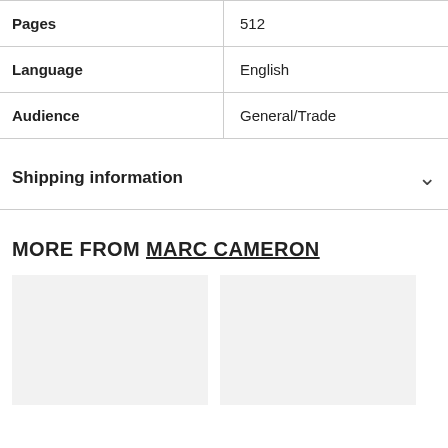| Pages | 512 |
| Language | English |
| Audience | General/Trade |
Shipping information
MORE FROM MARC CAMERON
[Figure (other): Two book cover placeholders (light gray rectangles) side by side under 'More From Marc Cameron' section]